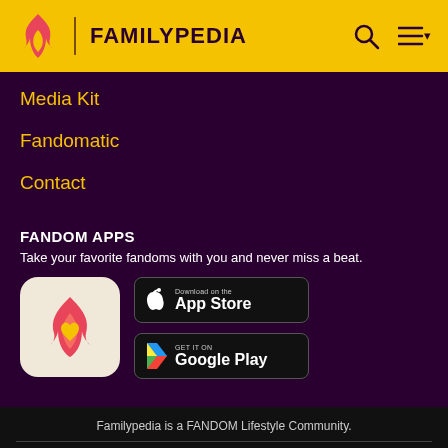FAMILYPEDIA
Media Kit
Fandomatic
Contact
FANDOM APPS
Take your favorite fandoms with you and never miss a beat.
[Figure (logo): Fandom app icon with flame and heart logo on beige background]
[Figure (screenshot): Download on the App Store button]
[Figure (screenshot): GET IT ON Google Play button]
Familypedia is a FANDOM Lifestyle Community.